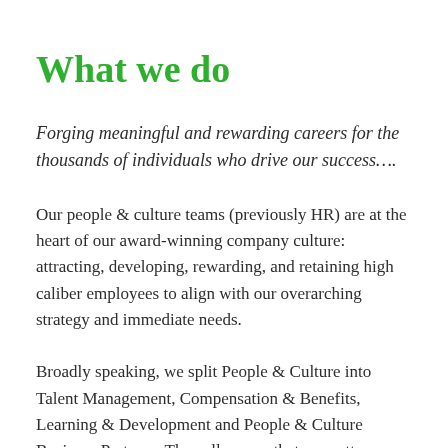What we do
Forging meaningful and rewarding careers for the thousands of individuals who drive our success….
Our people & culture teams (previously HR) are at the heart of our award-winning company culture: attracting, developing, rewarding, and retaining high caliber employees to align with our overarching strategy and immediate needs.
Broadly speaking, we split People & Culture into Talent Management, Compensation & Benefits, Learning & Development and People & Culture Business Partners. They all ensure that no matter where in the world we're operating, we have the right people, with the right skills, in the right place